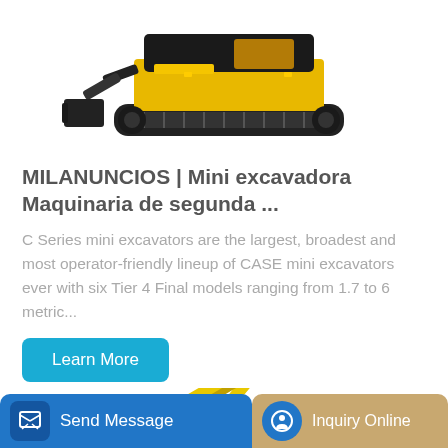[Figure (photo): Yellow and black tracked mini excavator/bulldozer machine, top portion visible, photographed on white background]
MILANUNCIOS | Mini excavadora Maquinaria de segunda ...
C Series mini excavators are the largest, broadest and most operator-friendly lineup of CASE mini excavators ever with six Tier 4 Final models ranging from 1.7 to 6 metric...
[Figure (photo): Yellow Lonking brand mini excavator, lower portion with arm and boom visible, on white background]
Send Message | Inquiry Online